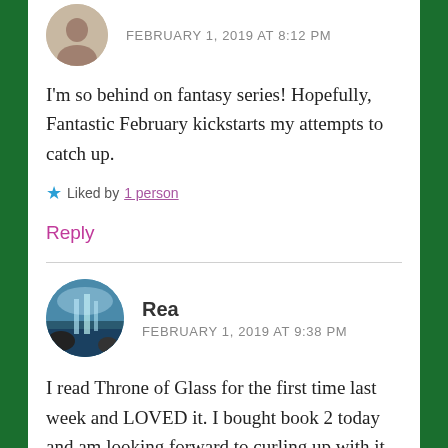[Figure (photo): Circular avatar photo of a person]
FEBRUARY 1, 2019 AT 8:12 PM
I'm so behind on fantasy series! Hopefully, Fantastic February kickstarts my attempts to catch up.
★ Liked by 1 person
Reply
[Figure (photo): Circular avatar photo of a waterfall landscape]
Rea
FEBRUARY 1, 2019 AT 9:38 PM
I read Throne of Glass for the first time last week and LOVED it. I bought book 2 today and am looking forward to curling up with it.